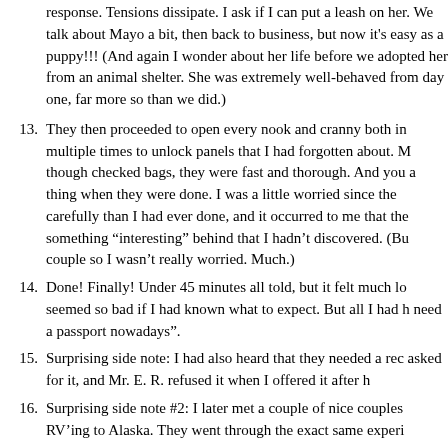response. Tensions dissipate. I ask if I can put a leash on her. We talk about Mayo a bit, then back to business, but now it's easy as a puppy!!! (And again I wonder about her life before we adopted her from an animal shelter. She was extremely well-behaved from day one, far more so than we did.)
13. They then proceeded to open every nook and cranny both in... multiple times to unlock panels that I had forgotten about. M... though checked bags, they were fast and thorough. And you... a thing when they were done. I was a little worried since the... carefully than I had ever done, and it occurred to me that the... something “interesting” behind that I hadn’t discovered. (Bu... couple so I wasn’t really worried. Much.)
14. Done! Finally! Under 45 minutes all told, but it felt much lo... seemed so bad if I had known what to expect. But all I had h... need a passport nowadays”.
15. Surprising side note: I had also heard that they needed a rec... asked for it, and Mr. E. R. refused it when I offered it after h...
16. Surprising side note #2: I later met a couple of nice couples... RV’ing to Alaska. They went through the exact same experi...